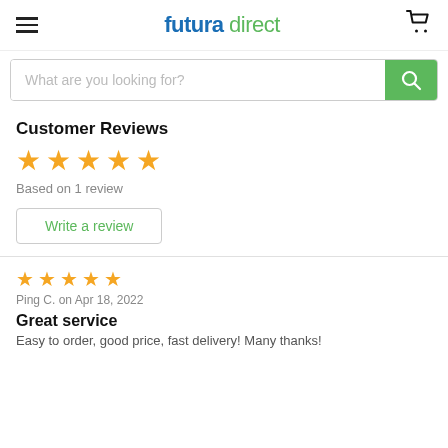futura direct
What are you looking for?
Customer Reviews
[Figure (other): 5 orange stars rating]
Based on 1 review
Write a review
[Figure (other): 5 orange stars rating (smaller)]
Ping C. on Apr 18, 2022
Great service
Easy to order, good price, fast delivery! Many thanks!